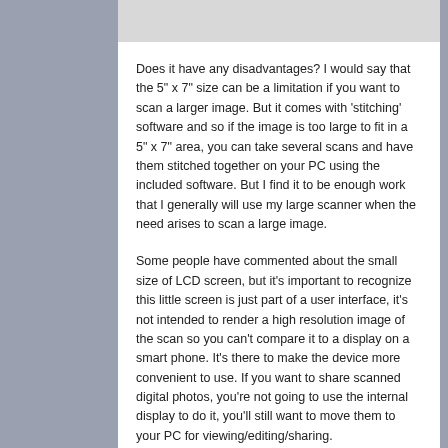[Figure (photo): Partial image strip visible at the top of the white panel]
Does it have any disadvantages? I would say that the 5" x 7" size can be a limitation if you want to scan a larger image. But it comes with ‘stitching’ software and so if the image is too large to fit in a 5" x 7" area, you can take several scans and have them stitched together on your PC using the included software. But I find it to be enough work that I generally will use my large scanner when the need arises to scan a large image.
Some people have commented about the small size of LCD screen, but it’s important to recognize this little screen is just part of a user interface, it’s not intended to render a high resolution image of the scan so you can’t compare it to a display on a smart phone. It’s there to make the device more convenient to use. If you want to share scanned digital photos, you’re not going to use the internal display to do it, you’ll still want to move them to your PC for viewing/editing/sharing.